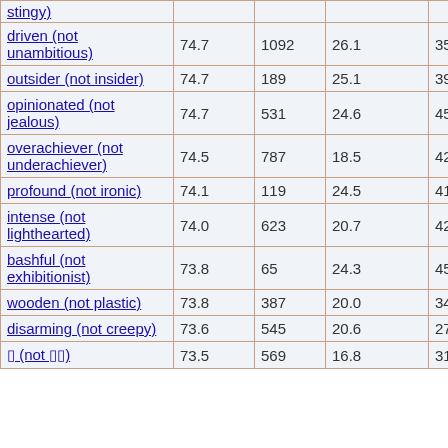| stingy) |  |  |  |  |
| driven (not unambitious) | 74.7 | 1092 | 26.1 | 35 |
| outsider (not insider) | 74.7 | 189 | 25.1 | 39 |
| opinionated (not jealous) | 74.7 | 531 | 24.6 | 45 |
| overachiever (not underachiever) | 74.5 | 787 | 18.5 | 42 |
| profound (not ironic) | 74.1 | 119 | 24.5 | 41 |
| intense (not lighthearted) | 74.0 | 623 | 20.7 | 42 |
| bashful (not exhibitionist) | 73.8 | 65 | 24.3 | 45 |
| wooden (not plastic) | 73.8 | 387 | 20.0 | 34 |
| disarming (not creepy) | 73.6 | 545 | 20.6 | 27 |
| ? (not ??) | 73.5 | 569 | 16.8 | 31 |